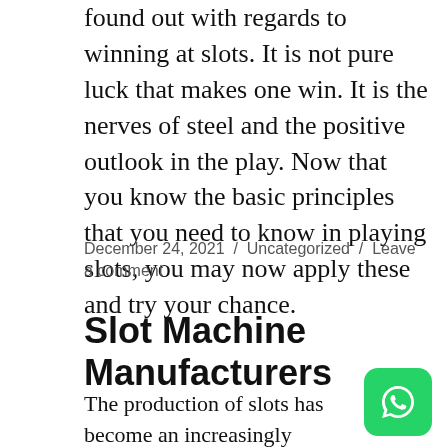found out with regards to winning at slots. It is not pure luck that makes one win. It is the nerves of steel and the positive outlook in the play. Now that you know the basic principles that you need to know in playing slots, you may now apply these and try your chance.
December 24, 2021 / Uncategorized / Leave a comment
Slot Machine Manufacturers
The production of slots has become an increasingly competitive market in recent years. Not long ago, in the 1970's,
[Figure (logo): WhatsApp logo button — green rounded square with white phone handset icon]